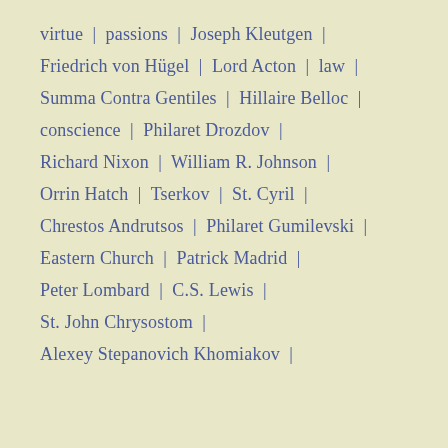virtue  |  passions  |  Joseph Kleutgen  |
Friedrich von Hügel  |  Lord Acton  |  law  |
Summa Contra Gentiles  |  Hillaire Belloc  |
conscience  |  Philaret Drozdov  |
Richard Nixon  |  William R. Johnson  |
Orrin Hatch  |  Tserkov  |  St. Cyril  |
Chrestos Andrutsos  |  Philaret Gumilevski  |
Eastern Church  |  Patrick Madrid  |
Peter Lombard  |  C.S. Lewis  |
St. John Chrysostom  |
Alexey Stepanovich Khomiakov  |